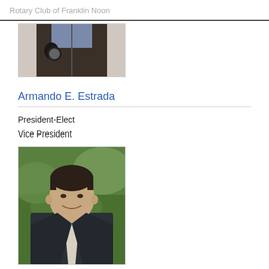Rotary Club of Franklin Noon
[Figure (photo): Partial photo of a person wearing a dark vest over a plaid shirt, cropped at the chest/shoulder area]
Armando E. Estrada
President-Elect
Vice President
[Figure (photo): Professional headshot of a middle-aged man in a dark suit with white shirt, smiling, with green foliage background]